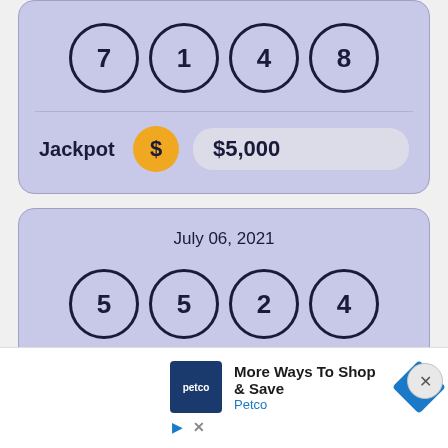[Figure (infographic): Lottery card showing 4 balls with numbers 7, 1, 4, 8 and a Jackpot of $5,000]
[Figure (infographic): Lottery card with date July 06, 2021 and 4 balls with numbers 5, 5, 2, 4]
[Figure (infographic): Advertisement for Petco: More Ways To Shop & Save]